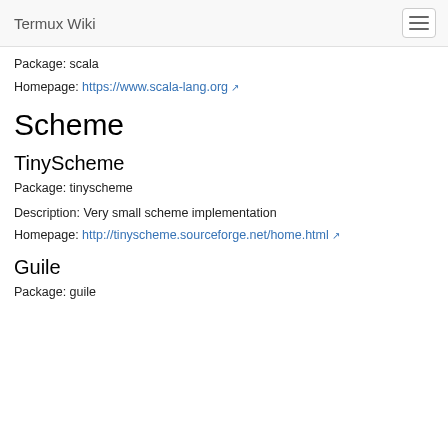Termux Wiki
Package: scala
Homepage: https://www.scala-lang.org
Scheme
TinyScheme
Package: tinyscheme
Description: Very small scheme implementation
Homepage: http://tinyscheme.sourceforge.net/home.html
Guile
Package: guile